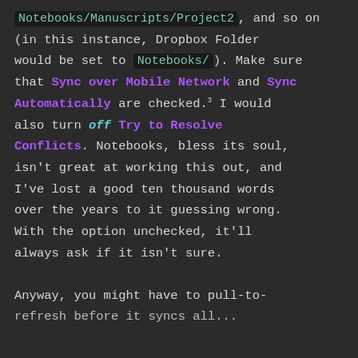Notebooks/Manuscripts/Project2, and so on (in this instance, Dropbox Folder would be set to Notebooks/). Make sure that Sync over Mobile Network and Sync Automatically are checked.³ I would also turn off Try to Resolve Conflicts. Notebooks, bless its soul, isn't great at working this out, and I've lost a good ten thousand words over the years to it guessing wrong. With the option unchecked, it'll always ask if it isn't sure.

Anyway, you might have to pull-to-...